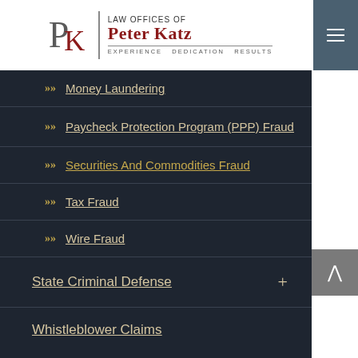[Figure (logo): Law Offices of Peter Katz logo with PK monogram and tagline 'Experience Dedication Results']
Money Laundering
Paycheck Protection Program (PPP) Fraud
Securities And Commodities Fraud
Tax Fraud
Wire Fraud
State Criminal Defense
Whistleblower Claims